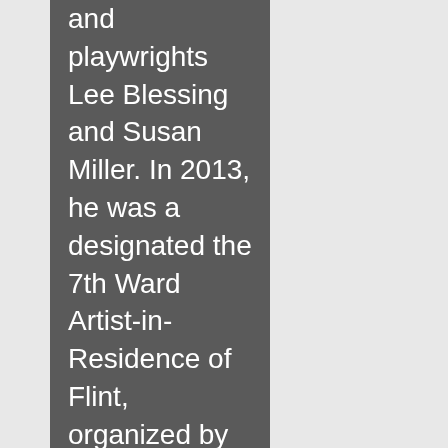and playwrights Lee Blessing and Susan Miller. In 2013, he was a designated the 7th Ward Artist-in-Residence of Flint, organized by the Greater Flint Arts Council in